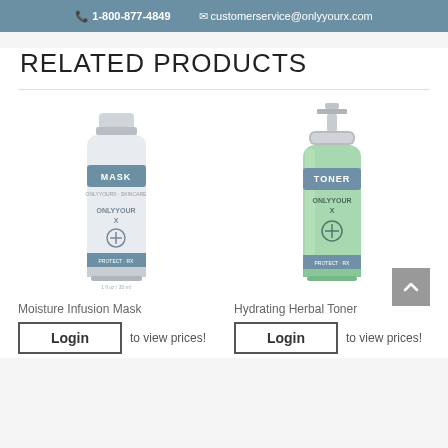1-800-877-4849  customerservice@onlyyourx.com
RELATED PRODUCTS
[Figure (photo): Moisture Infusion Mask tube product photo — white squeeze tube with blue/grey label band reading MASK, ONLYYOURX brand]
Moisture Infusion Mask
Login  to view prices!
[Figure (photo): Hydrating Herbal Toner bottle product photo — green spray bottle with grey/blue label band reading TONER, ONLYYOURX brand, silver pump top]
Hydrating Herbal Toner
Login  to view prices!